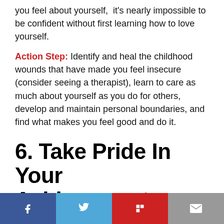you feel about yourself,  it's nearly impossible to be confident without first learning how to love yourself.
Action Step: Identify and heal the childhood wounds that have made you feel insecure (consider seeing a therapist), learn to care as much about yourself as you do for others, develop and maintain personal boundaries, and find what makes you feel good and do it.
6. Take Pride In Your Achievements
Confident people often make more money in the workplace and are generally more liked by others for one simple reason: They're not afraid to take credit for their
[Figure (other): Social media share buttons bar with Facebook, Twitter, Flipboard, and email icons]